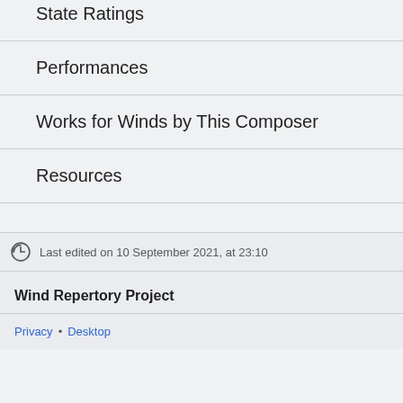State Ratings
Performances
Works for Winds by This Composer
Resources
Last edited on 10 September 2021, at 23:10
Wind Repertory Project
Privacy • Desktop